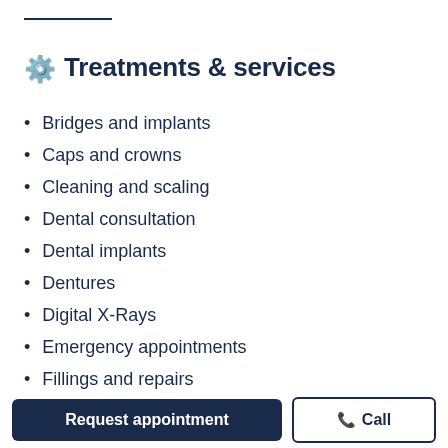Treatments & services
Bridges and implants
Caps and crowns
Cleaning and scaling
Dental consultation
Dental implants
Dentures
Digital X-Rays
Emergency appointments
Fillings and repairs
Gingivitis treatment
Request appointment | Call